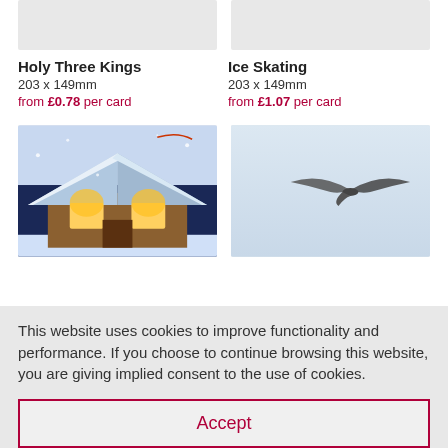[Figure (photo): Partial top of product card image for Holy Three Kings (cropped, top visible only)]
[Figure (photo): Partial top of product card image for Ice Skating (cropped, top visible only)]
Holy Three Kings
203 x 149mm
from £0.78 per card
Ice Skating
203 x 149mm
from £1.07 per card
[Figure (photo): Christmas house scene with glowing windows and snowy roof]
[Figure (photo): Bird in flight against pale wintry sky]
This website uses cookies to improve functionality and performance. If you choose to continue browsing this website, you are giving implied consent to the use of cookies.
Accept